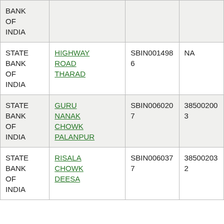| BANK OF INDIA |  |  |  |
| STATE BANK OF INDIA | HIGHWAY ROAD THARAD | SBIN0014986 | NA |
| STATE BANK OF INDIA | GURU NANAK CHOWK PALANPUR | SBIN0060207 | 385002003 |
| STATE BANK OF INDIA | RISALA CHOWK DEESA | SBIN0060377 | 385002032 |